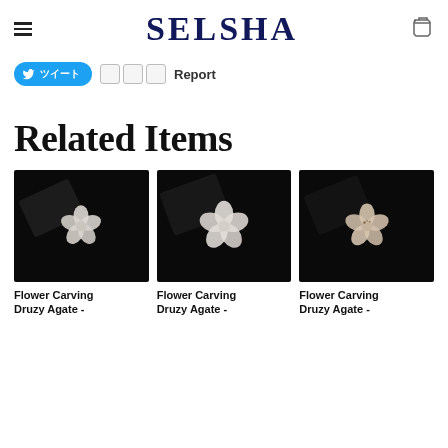SELSHA
ツイート Report
Related Items
[Figure (photo): Flower Carving Druzy Agate product photo on black velvet background - white flower carving]
[Figure (photo): Flower Carving Druzy Agate product photo on black velvet background - white flower carving]
[Figure (photo): Flower Carving Druzy Agate product photo on black velvet background - cream/beige flower carving]
Flower Carving Druzy Agate -
Flower Carving Druzy Agate -
Flower Carving Druzy Agate -